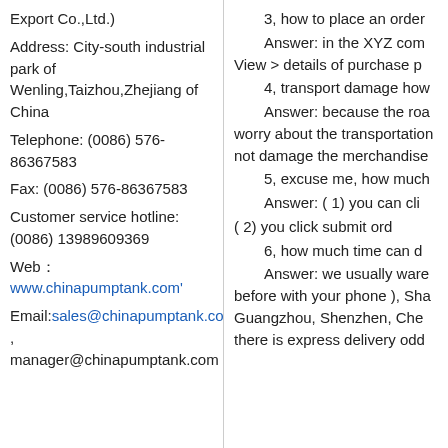Export Co.,Ltd.)
Address: City-south industrial park of Wenling,Taizhou,Zhejiang of China
Telephone: (0086) 576-86367583
Fax: (0086) 576-86367583
Customer service hotline: (0086) 13989609369
Web：www.chinapumptank.com'
Email:sales@chinapumptank.com , manager@chinapumptank.com
3, how to place an order
Answer: in the XYZ com View > details of purchase p
4, transport damage how
Answer: because the roa worry about the transportation not damage the merchandise
5, excuse me, how much
Answer: ( 1) you can cli
( 2) you click submit ord
6, how much time can d
Answer: we usually ware before with your phone ), Sha Guangzhou, Shenzhen, Che there is express delivery odd